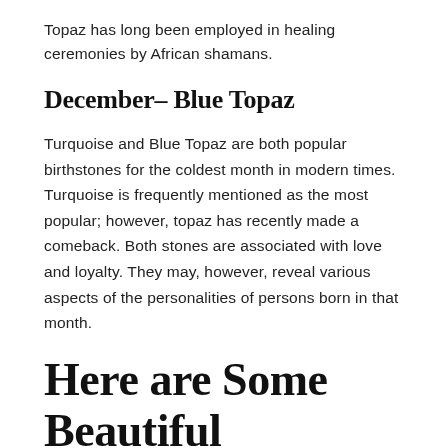Topaz has long been employed in healing ceremonies by African shamans.
December– Blue Topaz
Turquoise and Blue Topaz are both popular birthstones for the coldest month in modern times. Turquoise is frequently mentioned as the most popular; however, topaz has recently made a comeback. Both stones are associated with love and loyalty. They may, however, reveal various aspects of the personalities of persons born in that month.
Here are Some Beautiful Birthstone